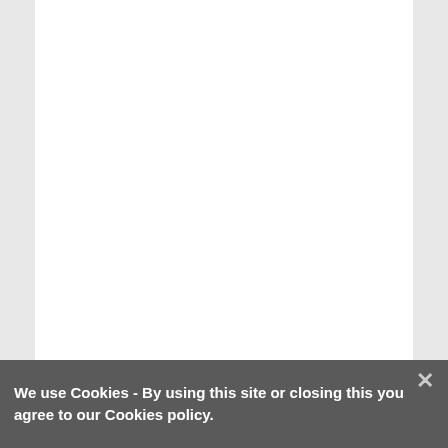We use Cookies - By using this site or closing this you agree to our Cookies policy.